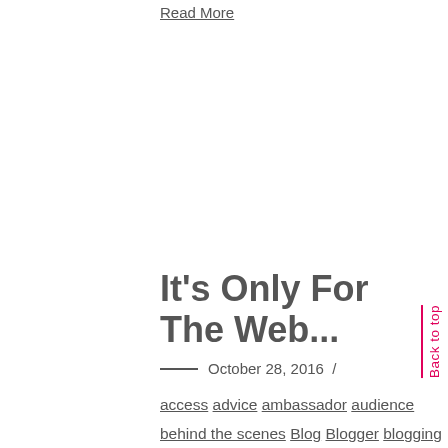Read More
It's Only For The Web...
October 28, 2016 /
access advice ambassador audience behind the scenes Blog Blogger blogging brand Branding broadcast
Back to top